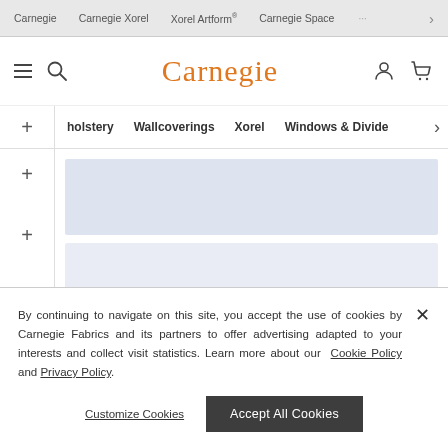Carnegie | Carnegie Xorel | Xorel Artform | Carnegie Space
[Figure (screenshot): Carnegie website header with logo, hamburger menu, search, user and cart icons]
Upholstery | Wallcoverings | Xorel | Windows & Divide
By continuing to navigate on this site, you accept the use of cookies by Carnegie Fabrics and its partners to offer advertising adapted to your interests and collect visit statistics. Learn more about our Cookie Policy and Privacy Policy.
Customize Cookies    Accept All Cookies